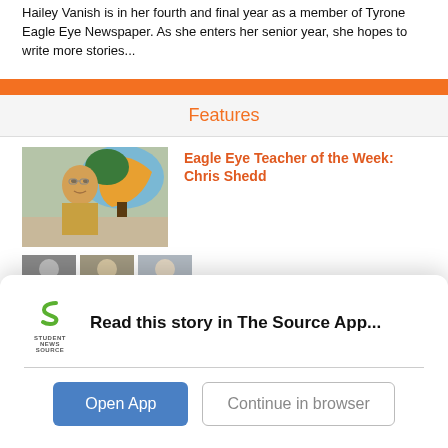Hailey Vanish is in her fourth and final year as a member of Tyrone Eagle Eye Newspaper. As she enters her senior year, she hopes to write more stories...
Features
Eagle Eye Teacher of the Week: Chris Shedd
[Figure (photo): Photo of a man in a yellow polo shirt standing in front of a colorful mural with a tree design]
[Figure (photo): Three small thumbnail photos of students/people]
Read this story in The Source App...
[Figure (logo): Student News Source logo - green S icon with 'STUDENT NEWS SOURCE' text]
Open App
Continue in browser